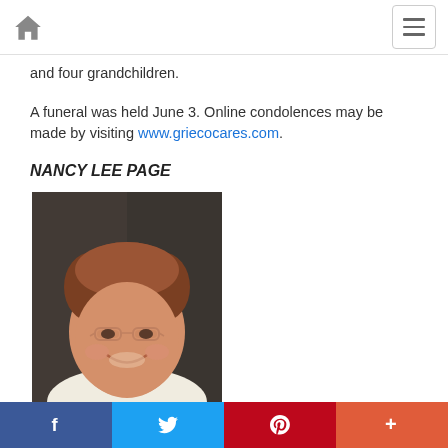Home navigation and menu button
and four grandchildren.
A funeral was held June 3. Online condolences may be made by visiting www.griecocares.com.
NANCY LEE PAGE
[Figure (photo): Portrait photo of Nancy Lee Page, an older woman with short reddish-brown hair, glasses, and a smile, wearing a light-colored top.]
Social sharing bar with Facebook, Twitter, Pinterest, and plus buttons